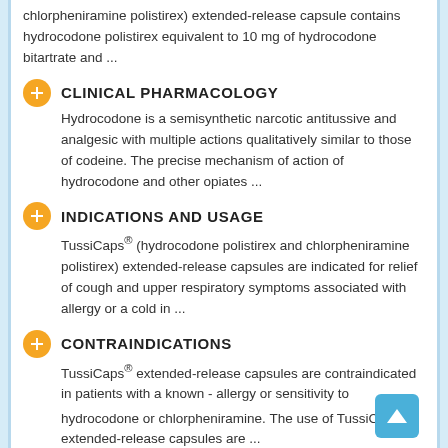chlorpheniramine polistirex) extended-release capsule contains hydrocodone polistirex equivalent to 10 mg of hydrocodone bitartrate and ...
CLINICAL PHARMACOLOGY
Hydrocodone is a semisynthetic narcotic antitussive and analgesic with multiple actions qualitatively similar to those of codeine. The precise mechanism of action of hydrocodone and other opiates ...
INDICATIONS AND USAGE
TussiCaps® (hydrocodone polistirex and chlorpheniramine polistirex) extended-release capsules are indicated for relief of cough and upper respiratory symptoms associated with allergy or a cold in ...
CONTRAINDICATIONS
TussiCaps® extended-release capsules are contraindicated in patients with a known - allergy or sensitivity to hydrocodone or chlorpheniramine. The use of TussiCaps® extended-release capsules are ...
WARNINGS
Respiratory Depression – As with all narcotics, TussiCaps®